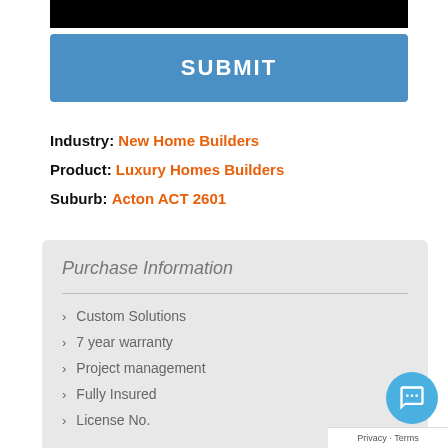[Figure (screenshot): Black bar at top representing a cropped UI element]
SUBMIT
Industry: New Home Builders
Product: Luxury Homes Builders
Suburb: Acton ACT 2601
Purchase Information
Custom Solutions
7 year warranty
Project management
Fully Insured
License No.
Privacy · Terms